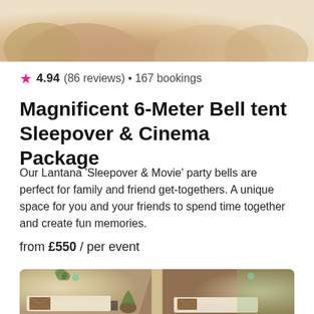[Figure (photo): Top portion of a bell tent interior showing beige/cream cushions and tent fabric]
★ 4.94 (86 reviews) • 167 bookings
Magnificent 6-Meter Bell tent Sleepover & Cinema Package
Our Lantana 'Sleepover & Movie' party bells are perfect for family and friend get-togethers. A unique space for you and your friends to spend time together and create fun memories.
from £550 / per event
[Figure (photo): Interior of a bell tent with beds/mattresses, plaid cushions, hanging plants with fairy lights, and a central pole visible]